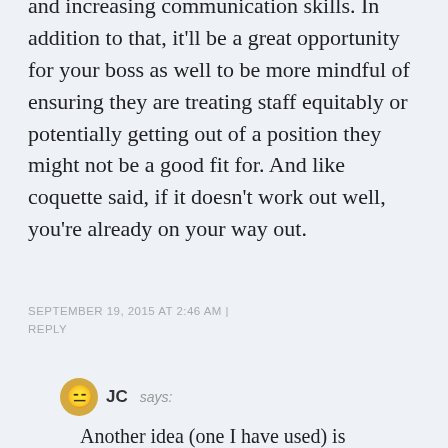and increasing communication skills. In addition to that, it'll be a great opportunity for your boss as well to be more mindful of ensuring they are treating staff equitably or potentially getting out of a position they might not be a good fit for. And like coquette said, if it doesn't work out well, you're already on your way out.
SEPTEMBER 19, 2015 AT 2:46 AM | REPLY
JC says:
Another idea (one I have used) is